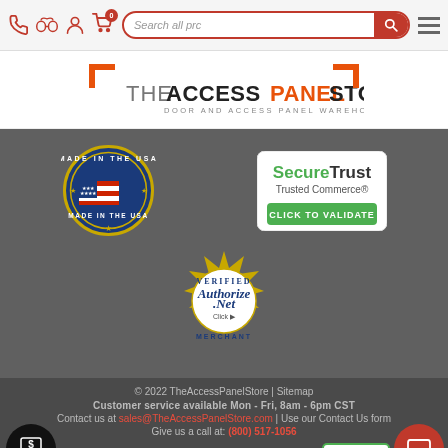Search all products — Navigation bar with icons and search
[Figure (logo): THE ACCESS PANEL STORE — Door and Access Panel Warehouse logo with red and grey text and orange bracket marks]
[Figure (logo): Made in the USA badge with American flag]
[Figure (logo): SecureTrust Trusted Commerce — Click to Validate badge]
[Figure (logo): Authorize.Net Verified Merchant seal with gold ring and blue text]
© 2022 TheAccessPanelStore | Sitemap
Customer service available Mon - Fri, 8am - 6pm CST
Contact us at sales@TheAccessPanelStore.com | Use our Contact Us form
Give us a call at: (800) 517-1056
[Figure (logo): Payment method logos: PayPal, VISA, American Express, MasterCard]
[Figure (logo): TrustedSite Certified Secure badge]